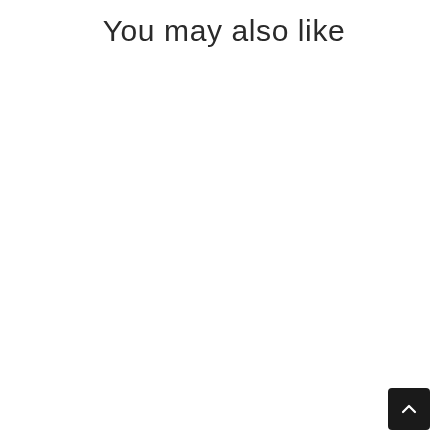You may also like
[Figure (other): Back to top button — dark rounded square with upward-pointing chevron arrow icon]